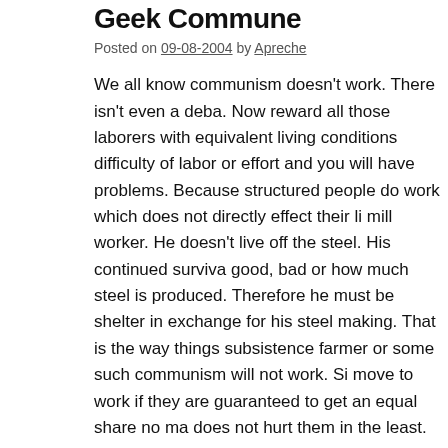Geek Commune
Posted on 09-08-2004 by Apreche
We all know communism doesn't work. There isn't even a deba. Now reward all those laborers with equivalent living conditions difficulty of labor or effort and you will have problems. Because structured people do work which does not directly effect their li mill worker. He doesn't live off the steel. His continued surviva good, bad or how much steel is produced. Therefore he must be shelter in exchange for his steel making. That is the way things subsistence farmer or some such communism will not work. Si move to work if they are guaranteed to get an equal share no ma does not hurt them in the least.
However, we all know that communistic style communities do w all working together and sharing profits equally is a very comm works as long as the sale of the crops from that farm is sold com marketplace. If the sale of those crops was always guaranteed to farmers wouldn't mind growing crummy crops, or fewer crops. corn, or no corn, and that would be that. But because the bette